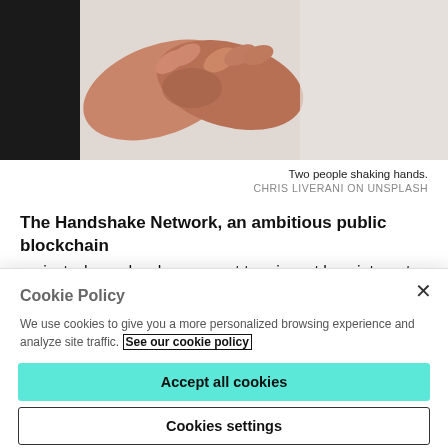[Figure (photo): Two people shaking hands, close-up photo with white brick wall background]
Two people shaking hands.
CHRIS LIVERANI ON UNSPLASH
The Handshake Network, an ambitious public blockchain project whose developers want to reinvent how internet
Cookie Policy
We use cookies to give you a more personalized browsing experience and analyze site traffic. See our cookie policy
Accept all cookies
Cookies settings